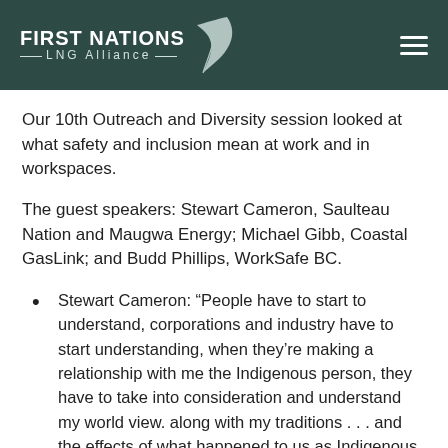FIRST NATIONS LNG ALLIANCE
Our 10th Outreach and Diversity session looked at what safety and inclusion mean at work and in workspaces.
The guest speakers: Stewart Cameron, Saulteau Nation and Maugwa Energy; Michael Gibb, Coastal GasLink; and Budd Phillips, WorkSafe BC.
Stewart Cameron: “People have to start to understand, corporations and industry have to start understanding, when they’re making a relationship with me the Indigenous person, they have to take into consideration and understand my world view. along with my traditions . . . and the effects of what happened to us as Indigenous